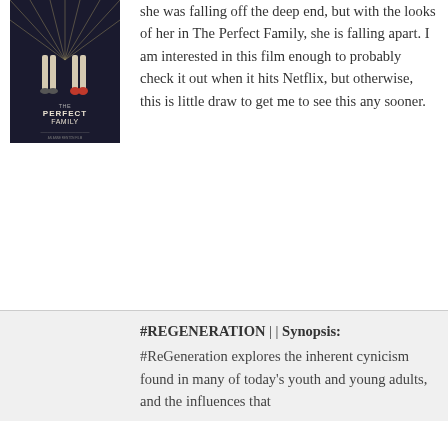[Figure (illustration): Movie poster for 'The Perfect Family' showing two figures from waist down and radiating lines in background]
she was falling off the deep end, but with the looks of her in The Perfect Family, she is falling apart. I am interested in this film enough to probably check it out when it hits Netflix, but otherwise, this is little draw to get me to see this any sooner.
#REGENERATION | | Synopsis:
#ReGeneration explores the inherent cynicism found in many of today's youth and young adults, and the influences that